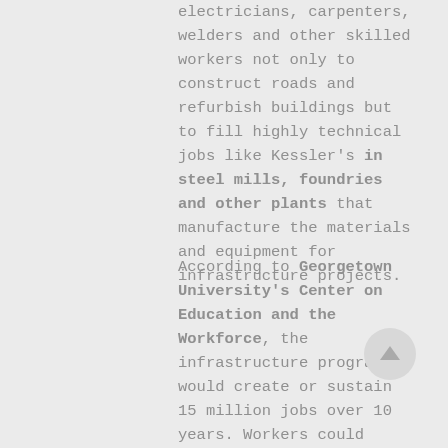electricians, carpenters, welders and other skilled workers not only to construct roads and refurbish buildings but to fill highly technical jobs like Kessler's in steel mills, foundries and other plants that manufacture the materials and equipment for infrastructure projects.
According to Georgetown University's Center on Education and the Workforce, the infrastructure program would create or sustain 15 million jobs over 10 years. Workers could obtain the skills needed for many of those jobs with six months of training or less.